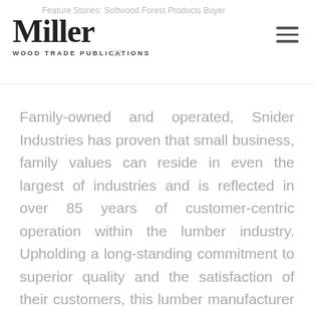Feature Stories: Softwood Forest Products Buyer
Miller Wood Trade Publications
Family-owned and operated, Snider Industries has proven that small business, family values can reside in even the largest of industries and is reflected in over 85 years of customer-centric operation within the lumber industry. Upholding a long-standing commitment to superior quality and the satisfaction of their customers, this lumber manufacturer has been labeled an industry leader in all facets: service, product offerings, and overall operation. Jill Snider Brewer, the third-generation owner of the family-owned sawmill, has been